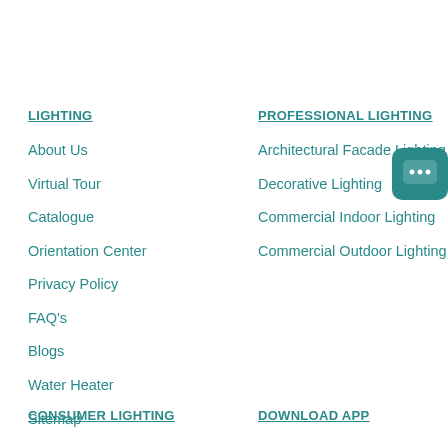LIGHTING
About Us
Virtual Tour
Catalogue
Orientation Center
Privacy Policy
FAQ's
Blogs
Water Heater
Sitemap
CONSUMER LIGHTING
PROFESSIONAL LIGHTING
Architectural Facade Lighting
Decorative Lighting
Commercial Indoor Lighting
Commercial Outdoor Lighting
[Figure (illustration): Teal chat bubble icon with three dots]
DOWNLOAD APP